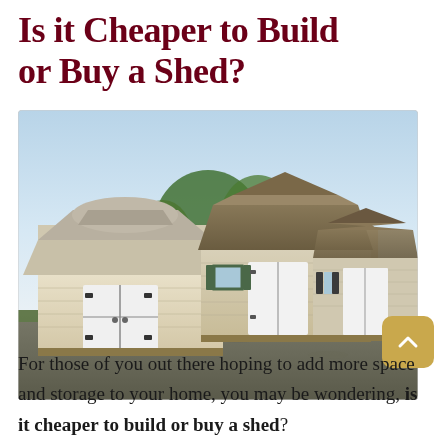Is it Cheaper to Build or Buy a Shed?
[Figure (photo): Three pre-built storage sheds displayed outdoors on gravel — a large barn-style shed on the left, and two smaller gable-roof sheds to the right, all in light tan/beige siding with white doors, set against trees and a clear sky.]
For those of you out there hoping to add more space and storage to your home, you may be wondering, is it cheaper to build or buy a shed?